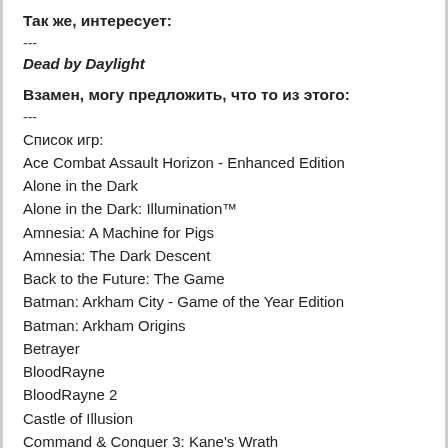Так же, интересует:
---
Dead by Daylight
Взамен, могу предложить, что то из этого:
---
Список игр:
Ace Combat Assault Horizon - Enhanced Edition
Alone in the Dark
Alone in the Dark: Illumination™
Amnesia: A Machine for Pigs
Amnesia: The Dark Descent
Back to the Future: The Game
Batman: Arkham City - Game of the Year Edition
Batman: Arkham Origins
Betrayer
BloodRayne
BloodRayne 2
Castle of Illusion
Command & Conquer 3: Kane's Wrath
Company of Heroes
DARK
Darksiders + Darksiders Warmastered Edition
Dead Sea
Deadfall Adventures
Deadlight
Divinity Anthology
Divinity II: Developer's Cut
DreadOut
E.Y.E: Divine Cybermancy